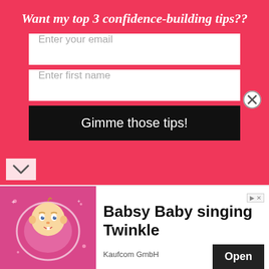Want my top 3 confidence-building tips??
Enter your email
Enter first name
Gimme those tips!
OWN MISTAKES
It’s all good and well telling our children not to make financial mistakes, but that’ll only help them to a degree. Experience is the best teacher! As such, one of the best ways to educate your children about hey is to let them make their own mistakes.
[Figure (illustration): Advertisement banner featuring animated baby character (Babsy Baby) on pink background with text 'Babsy Baby singing Twinkle', Kaufcom GmbH, and an Open button]